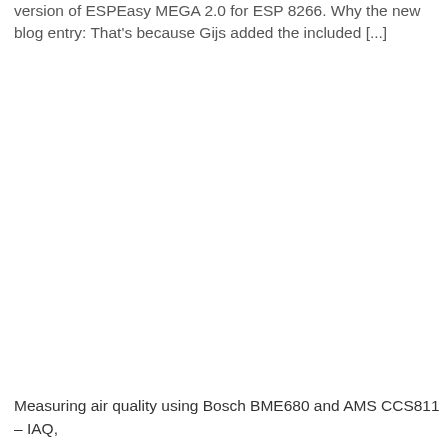version of ESPEasy MEGA 2.0 for ESP 8266. Why the new blog entry: That's because Gijs added the included [...]
Measuring air quality using Bosch BME680 and AMS CCS811 – IAQ,